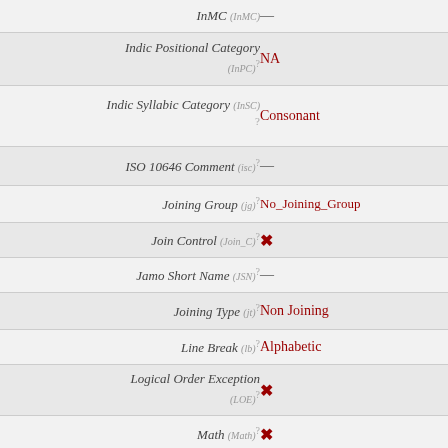| Property | Value |
| --- | --- |
| InMC (InMC) | — |
| Indic Positional Category (InPC) | NA |
| Indic Syllabic Category (InSC) | Consonant |
| ISO 10646 Comment (isc) | — |
| Joining Group (jg) | No_Joining_Group |
| Join Control (Join_C) | ✗ |
| Jamo Short Name (JSN) | — |
| Joining Type (jt) | Non Joining |
| Line Break (lb) | Alphabetic |
| Logical Order Exception (LOE) | ✗ |
| Math (Math) | ✗ |
| Noncharacter Code Point (NChar) | ✗ |